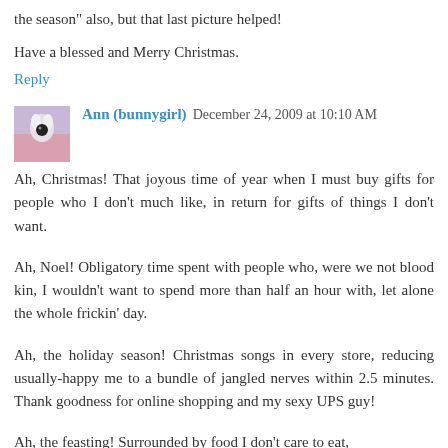the season" also, but that last picture helped!
Have a blessed and Merry Christmas.
Reply
Ann (bunnygirl)  December 24, 2009 at 10:10 AM
Ah, Christmas! That joyous time of year when I must buy gifts for people who I don't much like, in return for gifts of things I don't want.
Ah, Noel! Obligatory time spent with people who, were we not blood kin, I wouldn't want to spend more than half an hour with, let alone the whole frickin' day.
Ah, the holiday season! Christmas songs in every store, reducing usually-happy me to a bundle of jangled nerves within 2.5 minutes. Thank goodness for online shopping and my sexy UPS guy!
Ah, the feasting! Surrounded by food I don't care to eat,